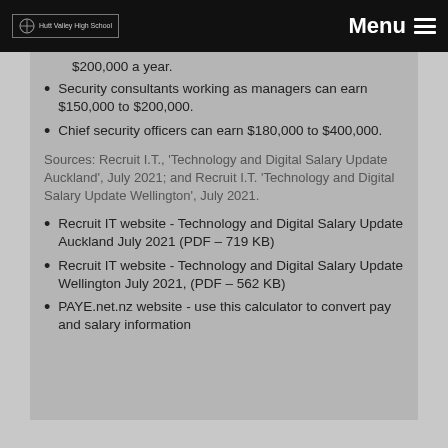Hutt Valley High School | Menu
$200,000 a year.
Security consultants working as managers can earn $150,000 to $200,000.
Chief security officers can earn $180,000 to $400,000.
Sources: Recruit I.T., 'Technology and Digital Salary Update Auckland', July 2021; and Recruit I.T. 'Technology and Digital Salary Update Wellington', July 2021.
Recruit IT website  - Technology and Digital Salary Update Auckland  July 2021 (PDF – 719 KB)
Recruit IT website -  Technology and Digital Salary Update Wellington July 2021, (PDF – 562 KB)
PAYE.net.nz website - use this calculator to convert pay and salary information